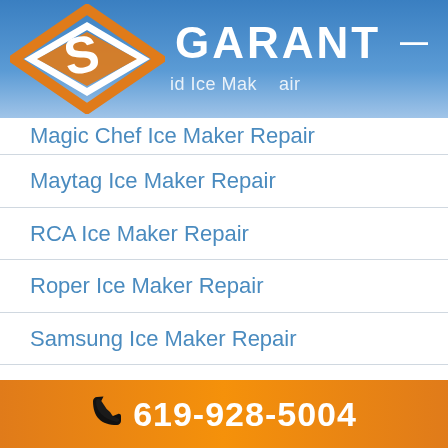[Figure (logo): Garant appliance repair logo with orange and white diamond/chevron symbol and GARANT text in white on blue gradient header]
Magic Chef Ice Maker Repair
Maytag Ice Maker Repair
RCA Ice Maker Repair
Roper Ice Maker Repair
Samsung Ice Maker Repair
Sears Ice Maker Repair
Sub-Zero Ice Maker
Tappan Ice Maker Repair
U-Line Ice Maker Repair
619-928-5004